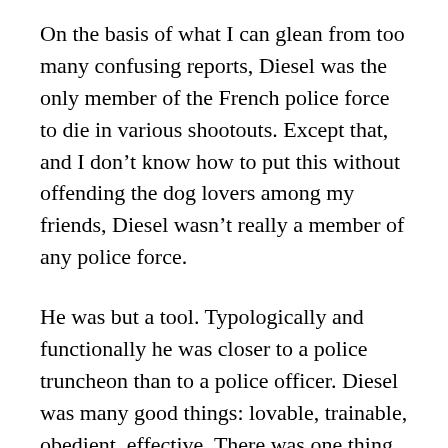On the basis of what I can glean from too many confusing reports, Diesel was the only member of the French police force to die in various shootouts. Except that, and I don’t know how to put this without offending the dog lovers among my friends, Diesel wasn’t really a member of any police force.
He was but a tool. Typologically and functionally he was closer to a police truncheon than to a police officer. Diesel was many good things: lovable, trainable, obedient, effective. There was one thing he wasn’t though: human.
Hence he wasn’t a free agent when he was picked out of many puppies to be trained for